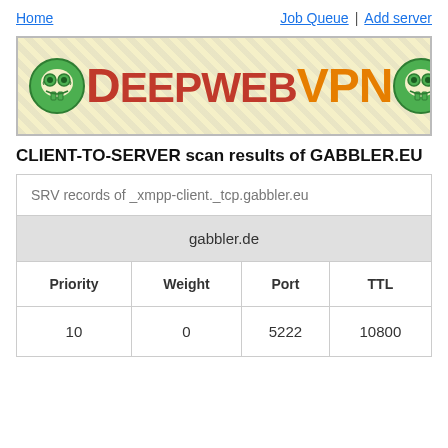Home | Job Queue | Add server
[Figure (illustration): DeepWebVPN banner with stylized text 'DEEPWEBVPN' in red and orange on cream/yellow background with diagonal hatching border, flanked by two green sugar skull icons.]
CLIENT-TO-SERVER scan results of GABBLER.EU
| Priority | Weight | Port | TTL |
| --- | --- | --- | --- |
| 10 | 0 | 5222 | 10800 |